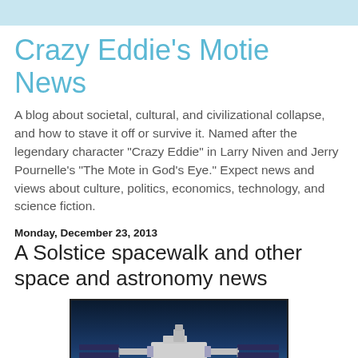Crazy Eddie's Motie News
A blog about societal, cultural, and civilizational collapse, and how to stave it off or survive it. Named after the legendary character "Crazy Eddie" in Larry Niven and Jerry Pournelle's "The Mote in God's Eye." Expect news and views about culture, politics, economics, technology, and science fiction.
Monday, December 23, 2013
A Solstice spacewalk and other space and astronomy news
[Figure (photo): Photograph of the International Space Station (ISS) with solar panels visible against Earth's surface and atmosphere in the background.]